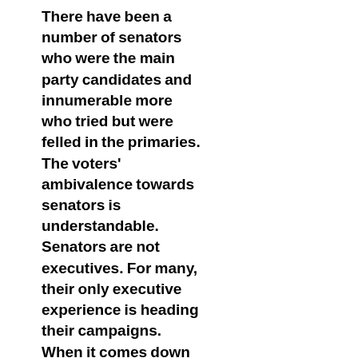There have been a number of senators who were the main party candidates and innumerable more who tried but were felled in the primaries. The voters' ambivalence towards senators is understandable. Senators are not executives. For many, their only executive experience is heading their campaigns. When it comes down to it, though, senators don't have to make